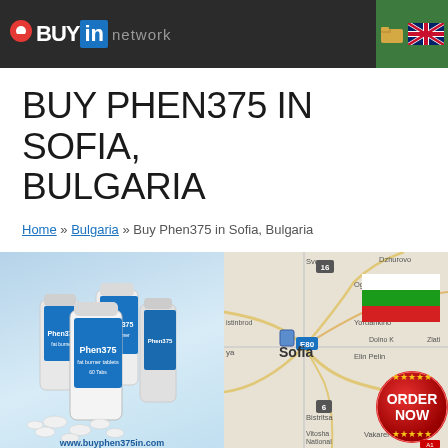BuyIn network
BUY PHEN375 IN SOFIA, BULGARIA
Home » Bulgaria » Buy Phen375 in Sofia, Bulgaria
[Figure (photo): Phen375 supplement bottles with pills scattered in front, website URL www.buyphen375in.com at bottom]
[Figure (map): Map showing Sofia, Bulgaria region with Bulgarian flag and red ORDER NOW button overlay]